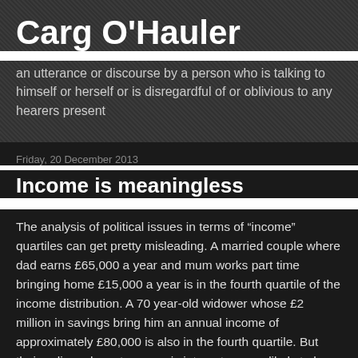Carg O'Hauler
an utterance or discourse by a person who is talking to himself or herself or is disregardful of or oblivious to any hearers present
Friday, 20 December 2013
Income is meaningless
The analysis of political issues in terms of “income” quartiles can get pretty misleading. A married couple where dad earns £65,000 a year and mum works part time bringing home £15,000 a year is in the fourth quartile of the income distribution. A 70 year-old widower whose £2 million in savings bring him an annual income of approximately £80,000 is also in the fourth quartile. But their policy-relevant economic interests are unlikely to have very much in common since in reality their financial situations are entirely dissimilar.